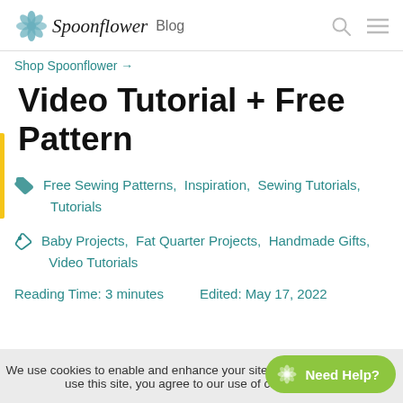Spoonflower Blog
Shop Spoonflower →
Video Tutorial + Free Pattern
Free Sewing Patterns, Inspiration, Sewing Tutorials, Tutorials
Baby Projects, Fat Quarter Projects, Handmade Gifts, Video Tutorials
Reading Time: 3 minutes   Edited: May 17, 2022
We use cookies to enable and enhance your site experience. By continuing to use this site, you agree to our use of cookies. A... Need Help?